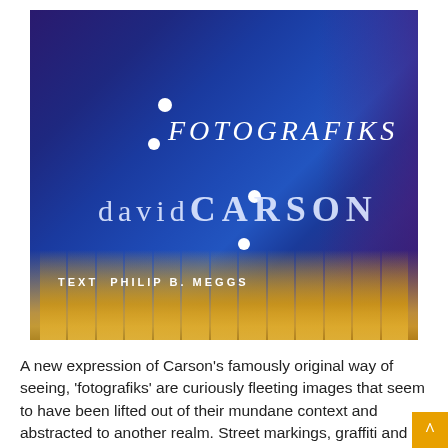[Figure (photo): Book cover of 'Fotografiks' by David Carson with text by Philip B. Meggs. Dark blue/indigo background with blurred architectural elements, warm golden pillars at the bottom, white decorative dots forming a colon-like pattern, title 'FOTOGRAFIKS' in italic white, 'DAVIDCARSON' in large spaced letters, and 'TEXT PHILIP B. MEGGS' at bottom left.]
A new expression of Carson's famously original way of seeing, 'fotografiks' are curiously fleeting images that seem to have been lifted out of their mundane context and abstracted to another realm. Street markings, graffiti and all sorts of sign